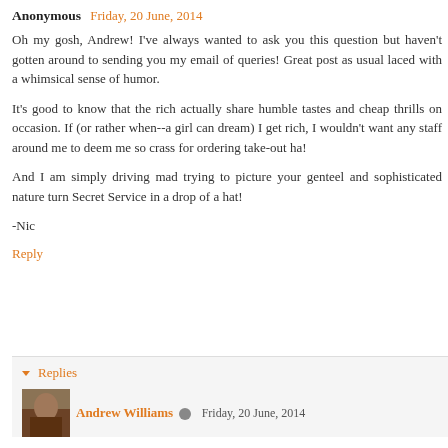Anonymous Friday, 20 June, 2014
Oh my gosh, Andrew! I've always wanted to ask you this question but haven't gotten around to sending you my email of queries! Great post as usual laced with a whimsical sense of humor.
It's good to know that the rich actually share humble tastes and cheap thrills on occasion. If (or rather when--a girl can dream) I get rich, I wouldn't want any staff around me to deem me so crass for ordering take-out ha!
And I am simply driving mad trying to picture your genteel and sophisticated nature turn Secret Service in a drop of a hat!
-Nic
Reply
Replies
Andrew Williams Friday, 20 June, 2014